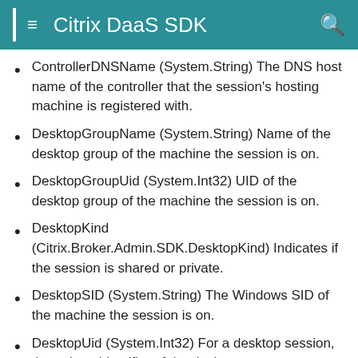Citrix DaaS SDK
ControllerDNSName (System.String) The DNS host name of the controller that the session's hosting machine is registered with.
DesktopGroupName (System.String) Name of the desktop group of the machine the session is on.
DesktopGroupUid (System.Int32) UID of the desktop group of the machine the session is on.
DesktopKind (Citrix.Broker.Admin.SDK.DesktopKind) Indicates if the session is shared or private.
DesktopSID (System.String) The Windows SID of the machine the session is on.
DesktopUid (System.Int32) For a desktop session, the unique identifier of the desktop.